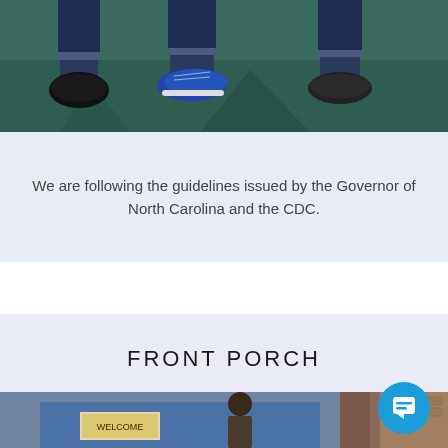[Figure (photo): Photo showing feet and lower legs of three people wearing jeans and sneakers/shoes standing on a dark floor]
We are following the guidelines issued by the Governor of North Carolina and the CDC.
FRONT PORCH
[Figure (photo): Bottom portion of a storefront or porch scene with signs and decorations]